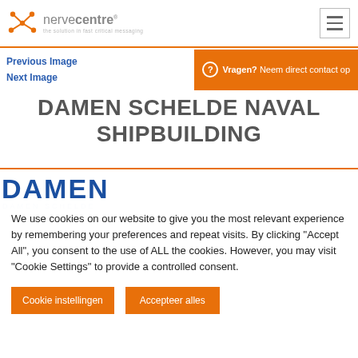nervecentre® — the solution in fast critical messaging
Previous Image
Next Image
Vragen? Neem direct contact op
DAMEN SCHELDE NAVAL SHIPBUILDING
[Figure (logo): Damen Schelde Naval Shipbuilding logo — blue DAMEN wordmark with stylized M, and DAMEN SCHELDE text below]
We use cookies on our website to give you the most relevant experience by remembering your preferences and repeat visits. By clicking "Accept All", you consent to the use of ALL the cookies. However, you may visit "Cookie Settings" to provide a controlled consent.
Cookie instellingen
Accepteer alles